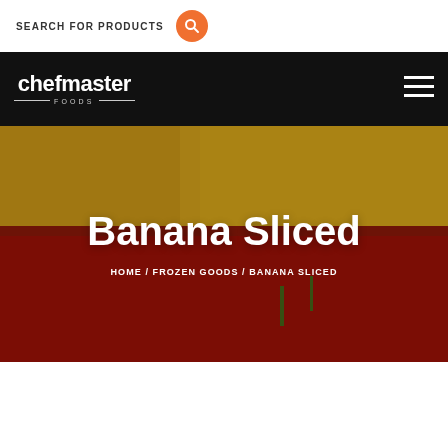SEARCH FOR PRODUCTS
[Figure (logo): Chefmaster Foods logo — white wordmark on black background with FOODS subtitle and decorative lines]
[Figure (photo): Hero background photo showing red chili peppers and yellow vegetables on a wooden surface]
Banana Sliced
HOME / FROZEN GOODS / BANANA SLICED